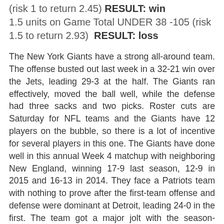(risk 1 to return 2.45) RESULT: win 1.5 units on Game Total UNDER 38 -105 (risk 1.5 to return 2.93) RESULT: loss
The New York Giants have a strong all-around team. The offense busted out last week in a 32-21 win over the Jets, leading 29-3 at the half. The Giants ran effectively, moved the ball well, while the defense had three sacks and two picks. Roster cuts are Saturday for NFL teams and the Giants have 12 players on the bubble, so there is a lot of incentive for several players in this one. The Giants have done well in this annual Week 4 matchup with neighboring New England, winning 17-9 last season, 12-9 in 2015 and 16-13 in 2014. They face a Patriots team with nothing to prove after the first-team offense and defense were dominant at Detroit, leading 24-0 in the first. The team got a major jolt with the season-ending loss of WR Julian Edelman, a key component and Tom Brady's favorite target. The depth at defensive end is a serious concern for New England, trading for LB Marquis Flowers this week (he